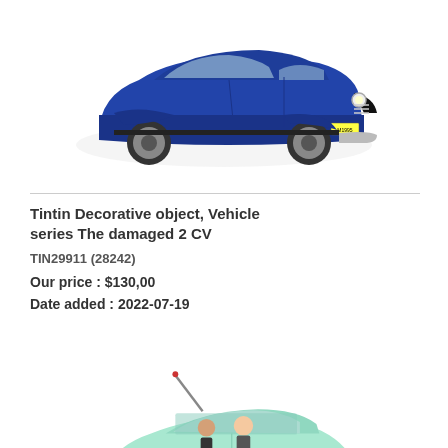[Figure (photo): Blue vintage toy car model (Tintin vehicle series) - a dark blue 1930s style automobile with grey tires, viewed from a front-left angle on white background]
Tintin Decorative object, Vehicle series The damaged 2 CV
TIN29911 (28242)
Our price : $130,00
Date added : 2022-07-19
[Figure (photo): Light mint green Citroën 2CV toy car model (damaged version) with bent antenna, open roof, figures inside, viewed from front-left angle on white background]